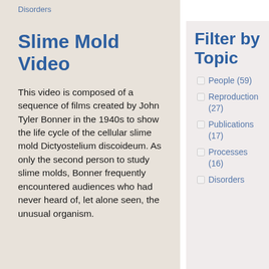Disorders
Slime Mold Video
This video is composed of a sequence of films created by John Tyler Bonner in the 1940s to show the life cycle of the cellular slime mold Dictyostelium discoideum. As only the second person to study slime molds, Bonner frequently encountered audiences who had never heard of, let alone seen, the unusual organism.
Filter by Topic
People (59)
Reproduction (27)
Publications (17)
Processes (16)
Disorders